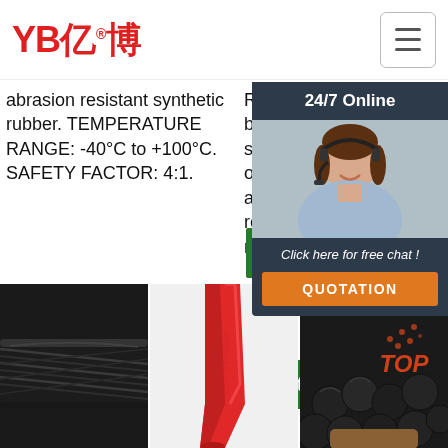YB亿博 — 24/7 Online chat widget header
abrasion resistant synthetic rubber. TEMPERATURE RANGE: -40°C to +100°C. SAFETY FACTOR: 4:1.
Reinforcement: Two braids of high-tensile steel wire. Cover: Black, oilproof, Anti-abrasion&weather resistant, thin synthetic rubber.
Reinforcement: Outer tube: Safety factor...
[Figure (screenshot): 24/7 Online chat widget with customer service representative photo, 'Click here for free chat!' text, and orange QUOTATION button]
[Figure (photo): Get Price button column 1]
[Figure (photo): Get Price button column 2]
[Figure (photo): Black hydraulic hose close-up photo]
[Figure (photo): Red hydraulic hose close-up photo]
[Figure (photo): Bundle of black hydraulic hoses with TOP logo watermark]